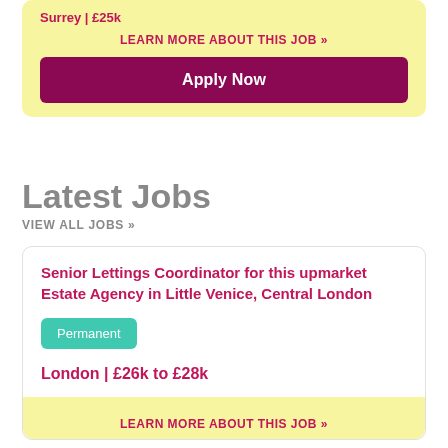Surrey | £25k
LEARN MORE ABOUT THIS JOB »
Apply Now
Latest Jobs
VIEW ALL JOBS »
Senior Lettings Coordinator for this upmarket Estate Agency in Little Venice, Central London
Permanent
London | £26k to £28k
LEARN MORE ABOUT THIS JOB »